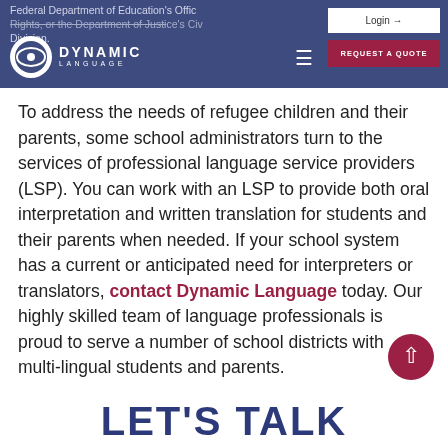Federal Department of Education's Office for Civil Rights, or the Department of Justice's Civil Rights Division.
[Figure (logo): Dynamic Language logo: circular icon with white background and dark icon, text DYNAMIC LANGUAGE in white on dark blue navbar]
To address the needs of refugee children and their parents, some school administrators turn to the services of professional language service providers (LSP). You can work with an LSP to provide both oral interpretation and written translation for students and their parents when needed. If your school system has a current or anticipated need for interpreters or translators, contact Dynamic Language today. Our highly skilled team of language professionals is proud to serve a number of school districts with multi-lingual students and parents.
LET'S TALK